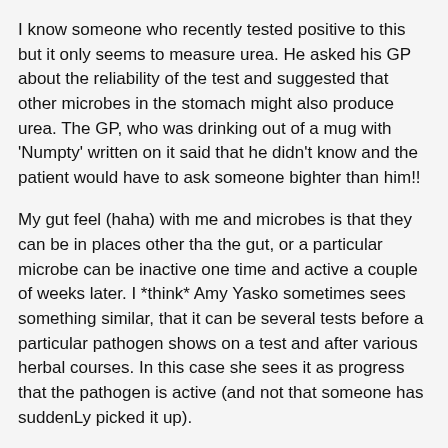I know someone who recently tested positive to this but it only seems to measure urea. He asked his GP about the reliability of the test and suggested that other microbes in the stomach might also produce urea. The GP, who was drinking out of a mug with 'Numpty' written on it said that he didn't know and the patient would have to ask someone bighter than him!!
My gut feel (haha) with me and microbes is that they can be in places other tha the gut, or a particular microbe can be inactive one time and active a couple of weeks later. I *think* Amy Yasko sometimes sees something similar, that it can be several tests before a particular pathogen shows on a test and after various herbal courses. In this case she sees it as progress that the pathogen is active (and not that someone has suddenLy picked it up).
Some others here have good results treating things they see on stool tests but it's been a bad course of action for me. I've been working on improving immune function and then